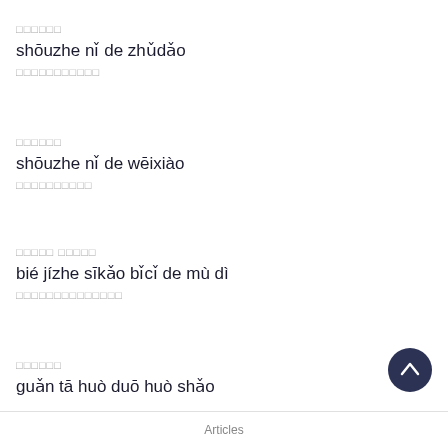□□□□□□
shōuzhe nǐ de zhǔdǎo
□□□□□□□□□□□
□□□□□□
shōuzhe nǐ de wēixiào
□□□□□□□□□□
□□□□□ □□□□□
bié jízhe sīkǎo bǐcǐ de mù dì
□□□□□□□□□□□□□□
□□□□□□
guǎn tā huò duō huò shǎo
Articles